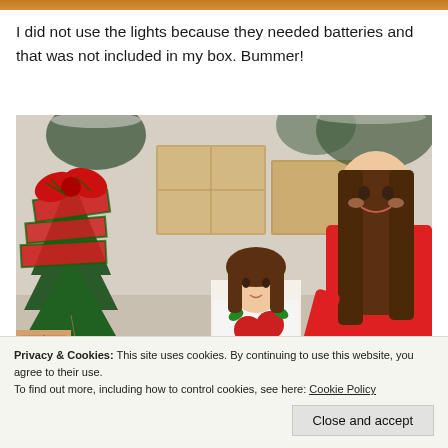[Figure (photo): Partial orange-toned photo strip at very top of page]
I did not use the lights because they needed batteries and that was not included in my box. Bummer!
[Figure (photo): A young girl in a red shirt smiling next to an American Girl doll, both posed near a decorated Christmas tree with red plaid ribbon and wooden ornaments, with wrapped presents and wooden boxes in background. Watermark reads 'Sweet Southern Grace'.]
Privacy & Cookies: This site uses cookies. By continuing to use this website, you agree to their use.
To find out more, including how to control cookies, see here: Cookie Policy
Close and accept